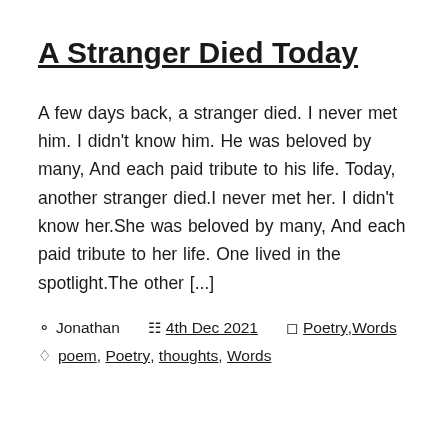A Stranger Died Today
A few days back, a stranger died. I never met him. I didn't know him. He was beloved by many, And each paid tribute to his life. Today, another stranger died.I never met her. I didn't know her.She was beloved by many, And each paid tribute to her life. One lived in the spotlight.The other [...]
Jonathan  4th Dec 2021  Poetry, Words
poem, Poetry, thoughts, Words